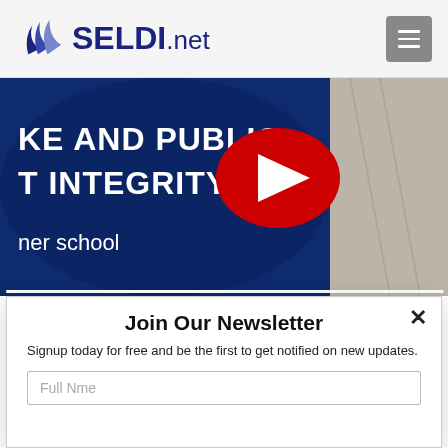SELDI.net
[Figure (screenshot): YouTube video thumbnail showing a dark blue slide with partial text 'KE AND PUBLIC T INTEGRITY' and a red YouTube play button in the center. Below the slide text reads 'ner school'. Right side shows a partial photo of people.]
Join Our Newsletter
Signup today for free and be the first to get notified on new updates.
Full Nme